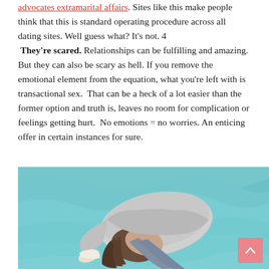advocates extramarital affairs. Sites like this make people think that this is standard operating procedure across all dating sites. Well guess what? It's not. 4  They're scared. Relationships can be fulfilling and amazing. But they can also be scary as hell. If you remove the emotional element from the equation, what you're left with is transactional sex.  That can be a heck of a lot easier than the former option and truth is, leaves no room for complication or feelings getting hurt.  No emotions = no worries. An enticing offer in certain instances for sure.
[Figure (photo): A woman lying face-down curled up on a teal/light blue bed, wearing a light grey sweater and grey jeans, hiding her face, with long brown hair spread out.]